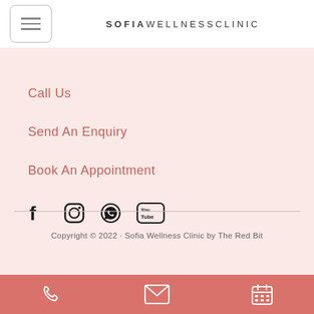SOFIA WELLNESS CLINIC
Call Us
Send An Enquiry
Book An Appointment
[Figure (infographic): Social media icons: Facebook, Instagram, WhatsApp, YouTube]
Copyright © 2022 · Sofia Wellness Clinic by The Red Bit
[Figure (infographic): Bottom navigation bar with phone, email, and calendar icons]